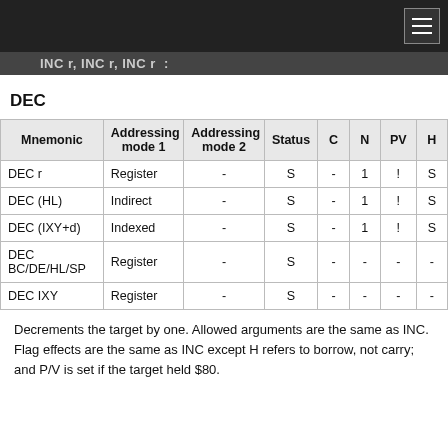DEC
| Mnemonic | Addressing mode 1 | Addressing mode 2 | Status | C | N | PV | H |
| --- | --- | --- | --- | --- | --- | --- | --- |
| DEC r | Register | - | S | - | 1 | ! | S |
| DEC (HL) | Indirect | - | S | - | 1 | ! | S |
| DEC (IXY+d) | Indexed | - | S | - | 1 | ! | S |
| DEC BC/DE/HL/SP | Register | - | S | - | - | - | - |
| DEC IXY | Register | - | S | - | - | - | - |
Decrements the target by one. Allowed arguments are the same as INC. Flag effects are the same as INC except H refers to borrow, not carry; and P/V is set if the target held $80.